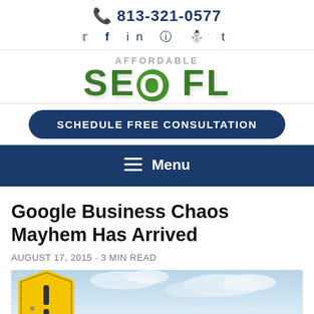📞 813-321-0577
Social icons: Twitter, Facebook, LinkedIn, Instagram, Pinterest, Tumblr
[Figure (logo): Affordable SEO FL logo with green bold text and grey AFFORDABLE above]
SCHEDULE FREE CONSULTATION
≡ Menu
Google Business Chaos Mayhem Has Arrived
AUGUST 17, 2015 · 3 min read
[Figure (photo): Yellow caution road sign against a cloudy sky background]